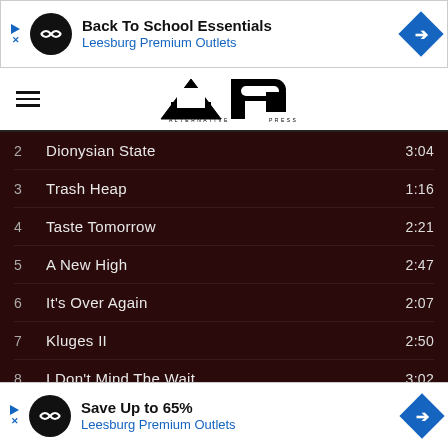[Figure (infographic): Top advertisement banner: Back To School Essentials – Leesburg Premium Outlets]
[Figure (logo): Alternative Press (AP) logo with hamburger menu icon]
| # | Title | Duration |
| --- | --- | --- |
| 2 | Dionysian State | 3:04 |
| 3 | Trash Heap | 1:16 |
| 4 | Taste Tomorrow | 2:21 |
| 5 | A New High | 2:47 |
| 6 | It's Over Again | 2:07 |
| 7 | Kluges II | 2:50 |
| 8 | I Don't Mind The Wait | 3:02 |
| 9 | Dawn Patrol | 1:34 |
| 10 | W... | 4:20 |
[Figure (infographic): Bottom advertisement banner: Save Up to 65% – Leesburg Premium Outlets]